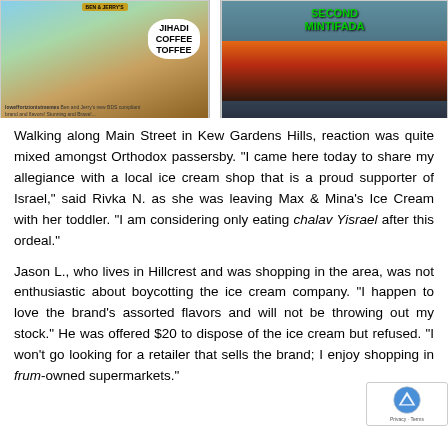[Figure (photo): Two parody ice cream containers styled like Ben & Jerry's. Left container labeled 'JIHADI COFFEE TOFFEE' with caption 'loweffortzionistmemes: Ben and Jerry's new BDS compliant brand and flavors! Stunning and Brave!...'. Right container labeled 'SECOND MINTIFADA' with an image of fire/destruction on the label.]
Walking along Main Street in Kew Gardens Hills, reaction was quite mixed amongst Orthodox passersby. "I came here today to share my allegiance with a local ice cream shop that is a proud supporter of Israel," said Rivka N. as she was leaving Max & Mina's Ice Cream with her toddler. "I am considering only eating chalav Yisrael after this ordeal."
Jason L., who lives in Hillcrest and was shopping in the area, was not enthusiastic about boycotting the ice cream company. "I happen to love the brand's assorted flavors and will not be throwing out my stock." He was offered $20 to dispose of the ice cream but refused. "I won't go looking for a retailer that sells the brand; I enjoy shopping in frum-owned supermarkets."